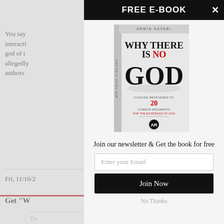You say interacti god of t allegedly authors
Fri, 11/16/2
Get "W
FREE E-BOOK
[Figure (photo): Book cover: 'Why There Is No God' by Armin Navabi — white cover with large gothic-style text, subtitle referencing 20 common arguments for the existence of God]
Join our newsletter & Get the book for free
Enter your Email
Join Now
No Thanks